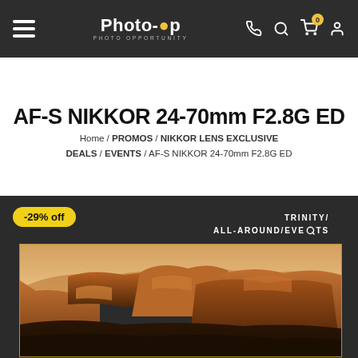Photo-Op PHOTO OPPORTUNITY — navigation header with hamburger menu, phone, search, cart (0), and user icons
AF-S NIKKOR 24-70mm F2.8G ED
Home / PROMOS / NIKKOR LENS EXCLUSIVE DEALS / EVENTS / AF-S NIKKOR 24-70mm F2.8G ED
[Figure (photo): Product promotional photo showing a canyon landscape (canyon walls with warm golden-orange light) inside a rectangular frame with a yellow border, on a dark background. A yellow '-29% off' badge is shown in the top left, and text 'TRINITY / ALL-AROUND/EVENTS' with a search icon appears in the top right.]